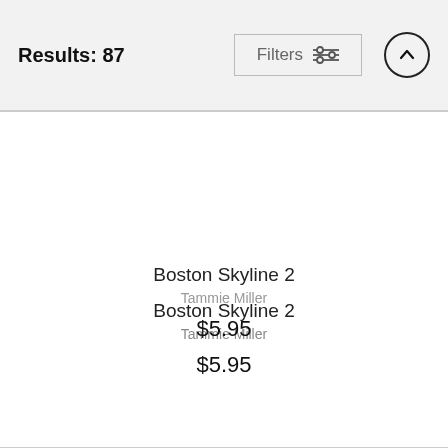Results: 87  Filters
Boston Skyline 2
Tammie Miller
$5.95
Boston Skyline HDR
Tammie Miller
$5.95